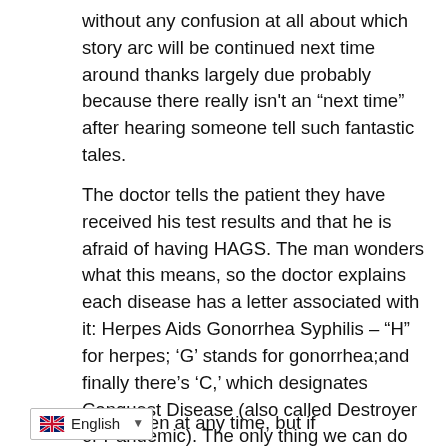without any confusion at all about which story arc will be continued next time around thanks largely due probably because there really isn't an “next time” after hearing someone tell such fantastic tales.
The doctor tells the patient they have received his test results and that he is afraid of having HAGS. The man wonders what this means, so the doctor explains each disease has a letter associated with it: Herpes Aids Gonorrhea Syphilis – “H” for herpes; ‘G’ stands for gonorrhea;and finally there’s ‘C,’ which designates Conquest Disease (also called Destroyer or Pandemic). The only thing we can do under door-sized constraints are flounder & pancake diets!). Will these help? Not at all but our best option right now
Medical care can happen at any time, but if